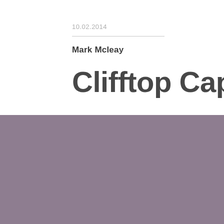10.02.2014
Mark Mcleay
Clifftop Captiv
[Figure (illustration): Solid muted purple/mauve rectangle occupying the bottom half of the page, serving as a background color block.]